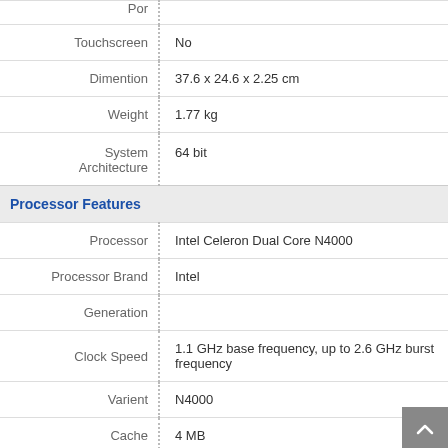| Label |  | Value |
| --- | --- | --- |
|  |  |  |
| Touchscreen |  | No |
| Dimention |  | 37.6 x 24.6 x 2.25 cm |
| Weight |  | 1.77 kg |
| System Architecture |  | 64 bit |
| Processor Features |  |  |
| Processor |  | Intel Celeron Dual Core N4000 |
| Processor Brand |  | Intel |
| Generation |  |  |
| Clock Speed |  | 1.1 GHz base frequency, up to 2.6 GHz burst frequency |
| Varient |  | N4000 |
| Cache |  | 4 MB |